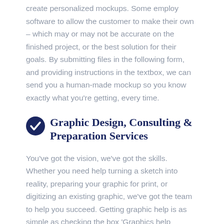create personalized mockups. Some employ software to allow the customer to make their own – which may or may not be accurate on the finished project, or the best solution for their goals. By submitting files in the following form, and providing instructions in the textbox, we can send you a human-made mockup so you know exactly what you're getting, every time.
Graphic Design, Consulting & Preparation Services
You've got the vision, we've got the skills. Whether you need help turning a sketch into reality, preparing your graphic for print, or digitizing an existing graphic, we've got the team to help you succeed. Getting graphic help is as simple as checking the box 'Graphics help needed' on the